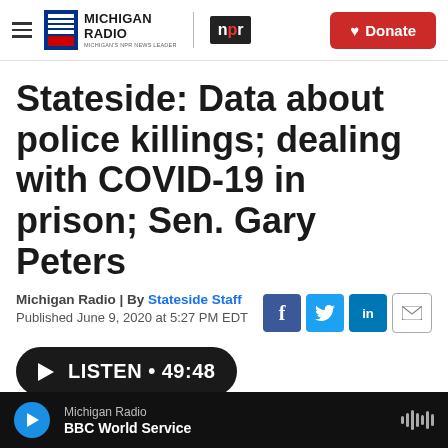Michigan Radio | NPR | Donate
Stateside: Data about police killings; dealing with COVID-19 in prison; Sen. Gary Peters
Michigan Radio | By Stateside Staff
Published June 9, 2020 at 5:27 PM EDT
LISTEN • 49:48
Michigan Radio
BBC World Service